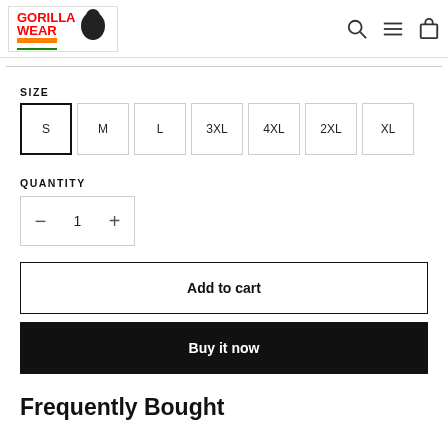Gorilla Wear logo and navigation icons (search, menu, cart)
SIZE
S  M  L  3XL  4XL  2XL  XL
QUANTITY
- 1 +
Add to cart
Buy it now
Frequently Bought